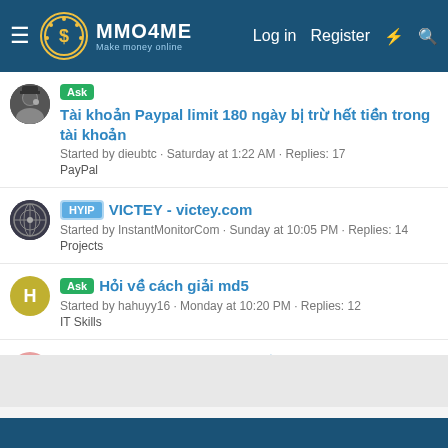MMO4ME - Make money online | Log in | Register
Ask | Tài khoản Paypal limit 180 ngày bị trừ hết tiền trong tài khoản | Started by dieubtc · Saturday at 1:22 AM · Replies: 17 | PayPal
HYIP | VICTEY - victey.com | Started by InstantMonitorCom · Sunday at 10:05 PM · Replies: 14 | Projects
Ask | Hỏi về cách giải md5 | Started by hahuyy16 · Monday at 10:20 PM · Replies: 12 | IT Skills
Dùng VPS ngoại có bị tìm ra ở VN ko? | Started by kythuathcqc2022 · Tuesday at 11:00 AM · Replies: 10 | IT Skills
< Projects